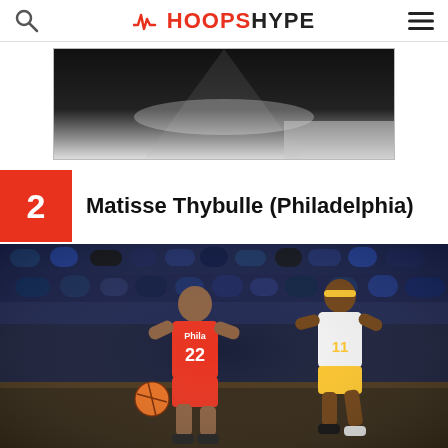HoopsHype
[Figure (photo): Advertisement banner with spotlight/light beam on dark background]
2  Matisse Thybulle (Philadelphia)
[Figure (photo): Matisse Thybulle #22 of the Philadelphia 76ers dribbling the ball against an Indiana Pacers defender in a game, with crowd in background]